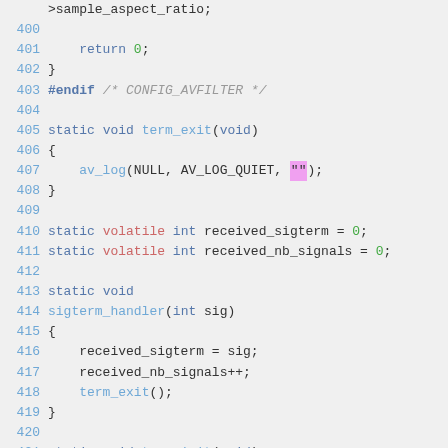Source code listing lines 400-423, C programming language with syntax highlighting